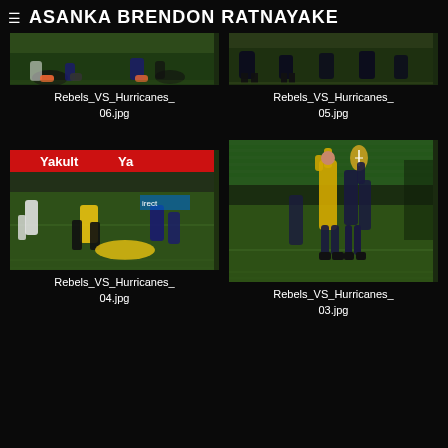≡  ASANKA BRENDON RATNAYAKE
[Figure (photo): Rugby match photo (partial, top cropped) - Rebels VS Hurricanes, players on grass field]
Rebels_VS_Hurricanes_
06.jpg
[Figure (photo): Rugby match photo (partial, top cropped) - Rebels VS Hurricanes, players on grass field]
Rebels_VS_Hurricanes_
05.jpg
[Figure (photo): Rugby match photo - Rebels VS Hurricanes, Yakult advertising banner visible, players tackling on green grass]
Rebels_VS_Hurricanes_
04.jpg
[Figure (photo): Rugby match photo - Rebels VS Hurricanes, lineout jump, player in yellow reaching for ball against blue-clad opponents]
Rebels_VS_Hurricanes_
03.jpg